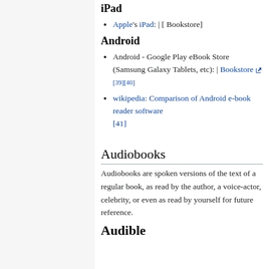iPad
Apple's iPad: | [ Bookstore]
Android
Android - Google Play eBook Store (Samsung Galaxy Tablets, etc): | Bookstore [39][40]
wikipedia: Comparison of Android e-book reader software [41]
Audiobooks
Audiobooks are spoken versions of the text of a regular book, as read by the author, a voice-actor, celebrity, or even as read by yourself for future reference.
Audible